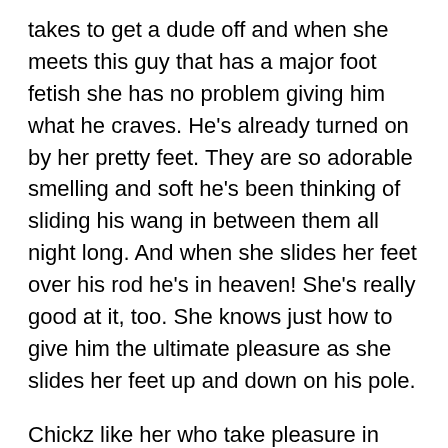takes to get a dude off and when she meets this guy that has a major foot fetish she has no problem giving him what he craves. He's already turned on by her pretty feet. They are so adorable smelling and soft he's been thinking of sliding his wang in between them all night long. And when she slides her feet over his rod he's in heaven! She's really good at it, too. She knows just how to give him the ultimate pleasure as she slides her feet up and down on his pole.
Chickz like her who take pleasure in pleasing by giving foot jobs aren't a dime a dozen and she's worth so much more than a dime! This lady, and others like her are waiting for you! Click the pictures at the top and you'll get to view some of